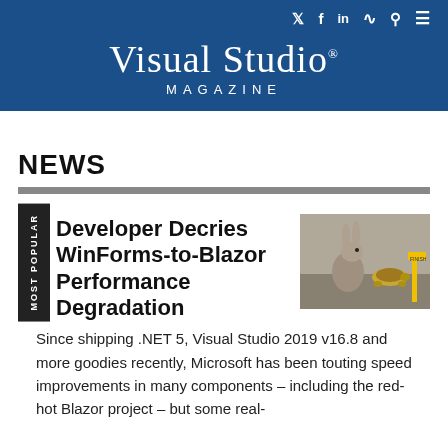Visual Studio MAGAZINE
NEWS
Developer Decries WinForms-to-Blazor Performance Degradation
[Figure (photo): A rabbit and a tortoise at a finish line, illustrating a race/speed comparison.]
Since shipping .NET 5, Visual Studio 2019 v16.8 and more goodies recently, Microsoft has been touting speed improvements in many components – including the red-hot Blazor project – but some real-